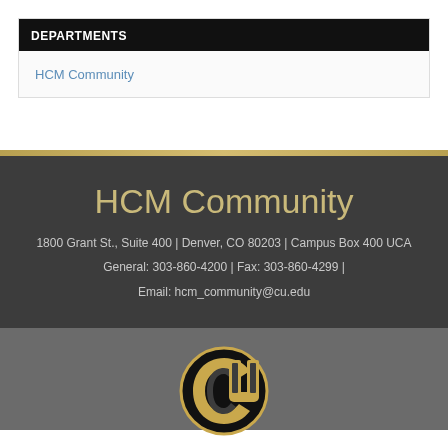DEPARTMENTS
HCM Community
HCM Community
1800 Grant St., Suite 400 | Denver, CO 80203 | Campus Box 400 UCA
General: 303-860-4200 | Fax: 303-860-4299 |
Email: hcm_community@cu.edu
[Figure (logo): University of Colorado CU logo in black and gold]